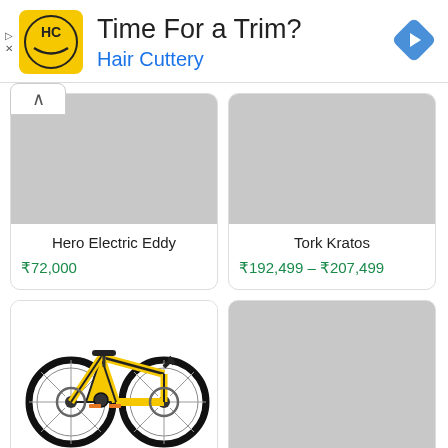[Figure (infographic): Hair Cuttery advertisement banner with logo (HC in yellow circle), headline 'Time For a Trim?', brand name 'Hair Cuttery', and a blue navigation arrow icon on the right]
Hero Electric Eddy
₹72,000
Tork Kratos
₹192,499 – ₹207,499
[Figure (photo): Yellow and black Hero Lectro F6i electric mountain bicycle]
Hero Lectro F6i